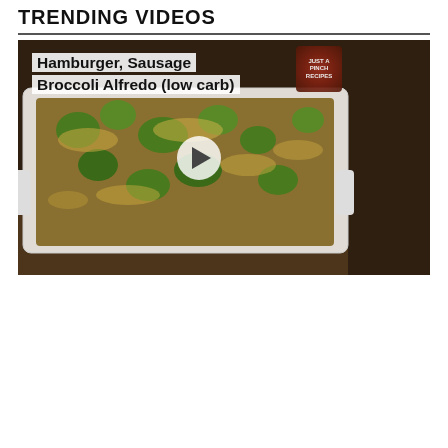TRENDING VIDEOS
[Figure (screenshot): Video thumbnail for 'Hamburger, Sausage Broccoli Alfredo (low carb)' showing a baked casserole dish with broccoli and cheese on a wooden surface with a cloth napkin beside it. A white play button is centered on the image. A channel logo appears in the top right corner.]